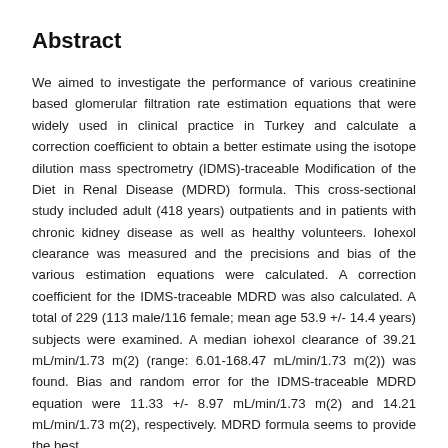Abstract
We aimed to investigate the performance of various creatinine based glomerular filtration rate estimation equations that were widely used in clinical practice in Turkey and calculate a correction coefficient to obtain a better estimate using the isotope dilution mass spectrometry (IDMS)-traceable Modification of the Diet in Renal Disease (MDRD) formula. This cross-sectional study included adult (418 years) outpatients and in patients with chronic kidney disease as well as healthy volunteers. Iohexol clearance was measured and the precisions and bias of the various estimation equations were calculated. A correction coefficient for the IDMS-traceable MDRD was also calculated. A total of 229 (113 male/116 female; mean age 53.9 +/- 14.4 years) subjects were examined. A median iohexol clearance of 39.21 mL/min/1.73 m(2) (range: 6.01-168.47 mL/min/1.73 m(2)) was found. Bias and random error for the IDMS-traceable MDRD equation were 11.33 +/- 8.97 mL/min/1.73 m(2) and 14.21 mL/min/1.73 m(2), respectively. MDRD formula seems to provide the best